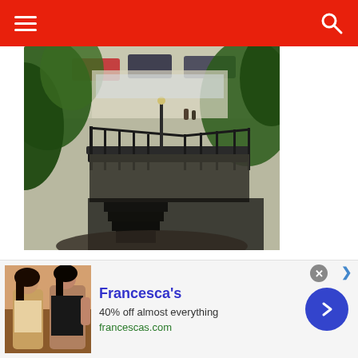Navigation bar with hamburger menu and search icon
[Figure (photo): Aerial/elevated view of a restored iron staircase structure with railings and platform landing, surrounded by trees. Cars and people visible in parking area below. Outdoor scene with dappled light through tree canopy.]
The Restored Brush Staircase
I usually don't like to include so many photos in one galle...
[Figure (infographic): Advertisement banner for Francesca's. Shows '40% off almost everything' and francescas.com. Contains photo of women and a blue circular call-to-action button with right arrow.]